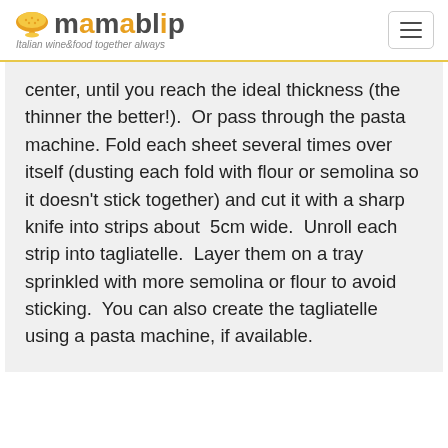mamablip — Italian wine&food together always
center, until you reach the ideal thickness (the thinner the better!).  Or pass through the pasta machine. Fold each sheet several times over itself (dusting each fold with flour or semolina so it doesn't stick together) and cut it with a sharp knife into strips about  5cm wide.  Unroll each strip into tagliatelle.  Layer them on a tray sprinkled with more semolina or flour to avoid sticking.  You can also create the tagliatelle using a pasta machine, if available.